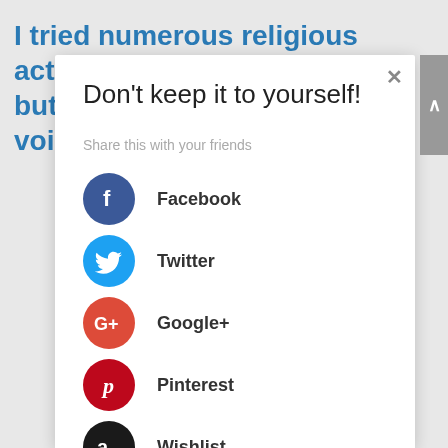I tried numerous religious activities, but they didn't usher in God's voice
Don't keep it to yourself!
Share this with your friends
Facebook
Twitter
Google+
Pinterest
Wishlist
Print Friendly